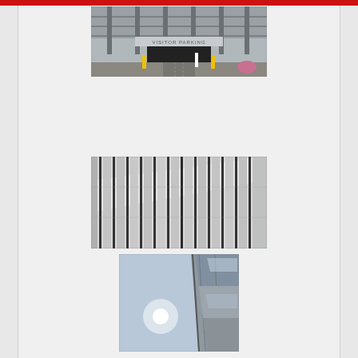[Figure (photo): Photograph of a multi-story parking structure entrance with 'VISITOR PARKING' sign, yellow bollards visible at the entrance, brick and concrete construction.]
[Figure (photo): Close-up photograph of a building facade featuring vertical metal fins or slats with light and shadow patterns, modern architectural cladding system.]
[Figure (photo): Low-angle photograph looking up at a modern glass and metal building exterior with the sun visible in a blue sky background.]